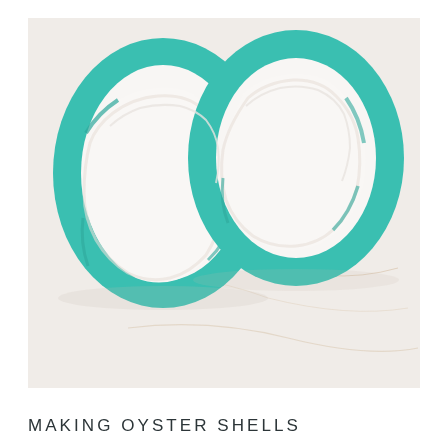[Figure (photo): Top-down view of two teal/turquoise silicone oyster shell molds filled with white clay or fondant, placed on a white marble surface.]
MAKING OYSTER SHELLS